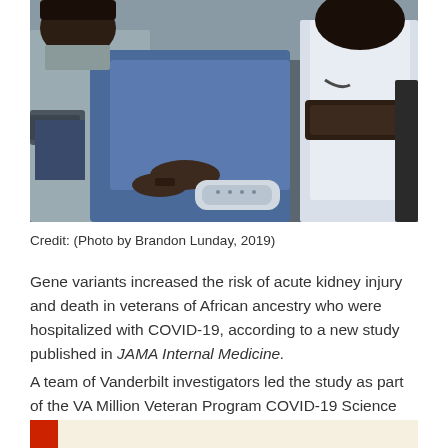[Figure (photo): A patient lying in a hospital bed with a blood pressure cuff, holding a TV remote. A healthcare provider in a white coat is seated nearby. Both appear to be African American.]
Credit: (Photo by Brandon Lunday, 2019)
Gene variants increased the risk of acute kidney injury and death in veterans of African ancestry who were hospitalized with COVID-19, according to a new study published in JAMA Internal Medicine.
A team of Vanderbilt investigators led the study as part of the VA Million Veteran Program COVID-19 Science Initiative.